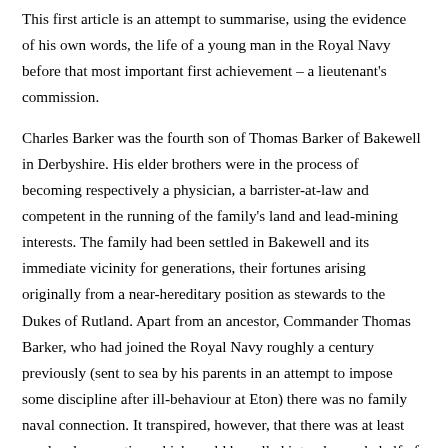This first article is an attempt to summarise, using the evidence of his own words, the life of a young man in the Royal Navy before that most important first achievement – a lieutenant's commission.
Charles Barker was the fourth son of Thomas Barker of Bakewell in Derbyshire. His elder brothers were in the process of becoming respectively a physician, a barrister-at-law and competent in the running of the family's land and lead-mining interests. The family had been settled in Bakewell and its immediate vicinity for generations, their fortunes arising originally from a near-hereditary position as stewards to the Dukes of Rutland. Apart from an ancestor, Commander Thomas Barker, who had joined the Royal Navy roughly a century previously (sent to sea by his parents in an attempt to impose some discipline after ill-behaviour at Eton) there was no family naval connection. It transpired, however, that there was at least one local connection which could be called into play on behalf of young Charles, aged 15 and recently finished with his traditional